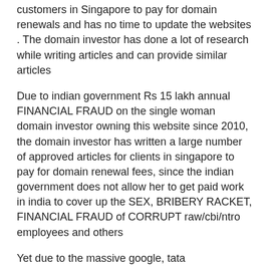customers in Singapore to pay for domain renewals and has no time to update the websites . The domain investor has done a lot of research while writing articles and can provide similar articles
Due to indian government Rs 15 lakh annual FINANCIAL FRAUD on the single woman domain investor owning this website since 2010, the domain investor has written a large number of approved articles for clients in singapore to pay for domain renewal fees, since the indian government does not allow her to get paid work in india to cover up the SEX, BRIBERY RACKET, FINANCIAL FRAUD of CORRUPT raw/cbi/ntro employees and others
Yet due to the massive google, tata masterminded SEX, BRIBERY racket in the tech, internet sector, raw/cbi are falsely claiming that their lazy greedy fraud employees who do not pay any money for domain , do not do any computer work spending their time, own the domains of a private citizen single woman in a government FINANCIAL, ICANN FRAUD since 2010 while criminally defaming the single woman to cover up their FINANCIAL FRAUD
CORRUPT LIAR indian government BRIBED by fraud indian internet, tech companies led by google, tata is falsely claiming